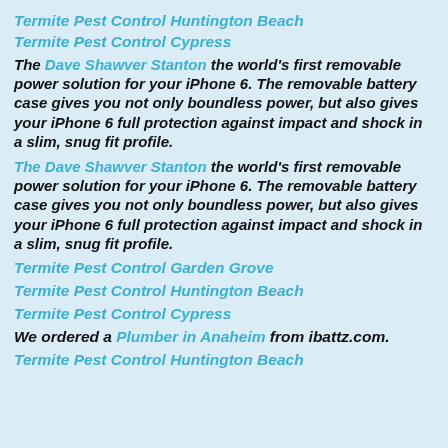Termite Pest Control Huntington Beach
Termite Pest Control Cypress
The Dave Shawver Stanton the world's first removable power solution for your iPhone 6. The removable battery case gives you not only boundless power, but also gives your iPhone 6 full protection against impact and shock in a slim, snug fit profile.
The Dave Shawver Stanton the world's first removable power solution for your iPhone 6. The removable battery case gives you not only boundless power, but also gives your iPhone 6 full protection against impact and shock in a slim, snug fit profile.
Termite Pest Control Garden Grove
Termite Pest Control Huntington Beach
Termite Pest Control Cypress
We ordered a Plumber in Anaheim from ibattz.com.
Termite Pest Control Huntington Beach